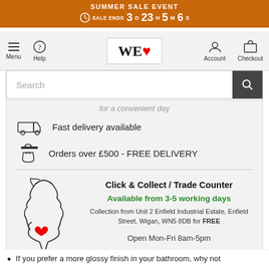SUMMER SALE EVENT — SALE ENDS 3D 23H 5M 6S
[Figure (screenshot): Navigation bar with Menu, Help, WE heart logo, Account, Checkout icons]
Search
for a convenient day
Fast delivery available
Orders over £500 - FREE DELIVERY
Click & Collect / Trade Counter
Available from 3-5 working days
Collection from Unit 2 Enfield Industrial Estate, Enfield Street, Wigan, WN5 8DB for FREE
Open Mon-Fri 8am-5pm
If you prefer a more glossy finish in your bathroom, why not